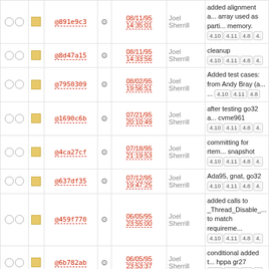| sel | type | hash | icon | date | author | description |
| --- | --- | --- | --- | --- | --- | --- |
| ○ ○ | ■ | @891e9c3 | ⚙ | 08/11/95 14:35:01 | Joel Sherrill | added alignment a... array used as part... memory. 4.10 4.11 4.8 4. |
| ○ ○ | ■ | @8d47a15 | ⚙ | 08/11/95 14:33:56 | Joel Sherrill | cleanup 4.10 4.11 4.8 4. |
| ○ ○ | ■ | @7950309 | ⚙ | 08/02/95 19:56:51 | Joel Sherrill | Added test cases: from Andy Bray (a... ... 4.10 4.11 4.8 |
| ○ ○ | ■ | @1690c6b | ⚙ | 07/21/95 20:10:49 | Joel Sherrill | after testing go32 a... cvme961 4.10 4.11 4.8 4. |
| ○ ○ | ■ | @4ca27cf | ⚙ | 07/18/95 21:19:53 | Joel Sherrill | committing for rtem... snapshot 4.10 4.11 4.8 4. |
| ○ ○ | ■ | @637df35 | ⚙ | 07/12/95 19:47:25 | Joel Sherrill | Ada95, gnat, go32 4.10 4.11 4.8 4. |
| ○ ○ | ■ | @459f770 | ⚙ | 06/05/95 23:55:00 | Joel Sherrill | added calls to _Thread_Disable_... to match requireme... 4.10 4.11 4.8 4. |
| ○ ○ | ■ | @6b782ab | ⚙ | 06/05/95 23:53:37 | Joel Sherrill | conditional added t... hppa gr27 4.10 4.11 4.8 4. |
| ○ ○ | ■ | @7c22114b | ⚙ | 05/31/95 17:37:05 | Joel Sherrill | Corrected minor nu... "Null" device drive... 4.10 4.11 4.8 4. |
| ○ ○ | ■ | @497428a2 | ⚙ | 05/30/95 19:42:36 | Joel Sherrill | cpu/*types.h adde... successfully comp... task priority ... 4.10 4.11 4.8 4. |